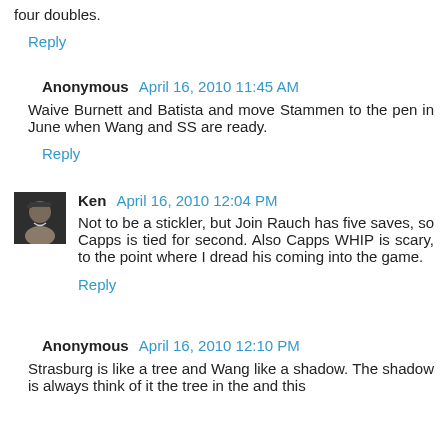four doubles.
Reply
Anonymous  April 16, 2010 11:45 AM
Waive Burnett and Batista and move Stammen to the pen in June when Wang and SS are ready.
Reply
Ken  April 16, 2010 12:04 PM
Not to be a stickler, but Join Rauch has five saves, so Capps is tied for second. Also Capps WHIP is scary, to the point where I dread his coming into the game.
Reply
Anonymous  April 16, 2010 12:10 PM
Strasburg is like a tree and Wang like a shadow. The shadow is always think of it the tree in the and this